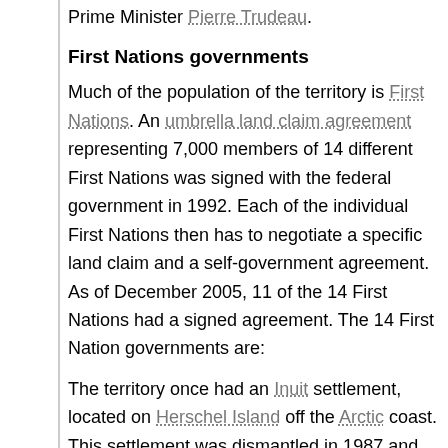Prime Minister Pierre Trudeau.
First Nations governments
Much of the population of the territory is First Nations. An umbrella land claim agreement representing 7,000 members of 14 different First Nations was signed with the federal government in 1992. Each of the individual First Nations then has to negotiate a specific land claim and a self-government agreement. As of December 2005, 11 of the 14 First Nations had a signed agreement. The 14 First Nation governments are:
The territory once had an Inuit settlement, located on Herschel Island off the Arctic coast. This settlement was dismantled in 1987 and its inhabitants relocated to the neighbouring Northwest